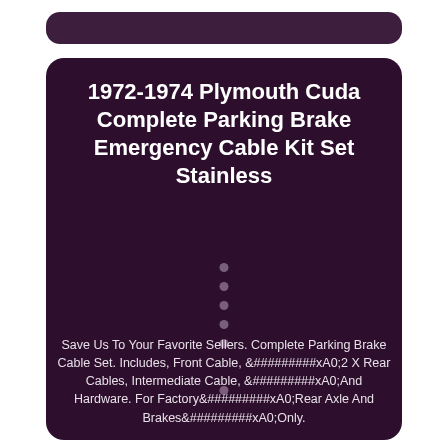1972-1974 Plymouth Cuda Complete Parking Brake Emergency Cable Kit Set Stainless
Save Us To Your Favorite Sellers. Complete Parking Brake Cable Set. Includes, Front Cable, &#########xA0;2 X Rear Cables, Intermediate Cable, &#########xA0;And Hardware. For Factory&#########xA0;Rear Axle And Brakes&#########xA0;Only.
(Picture May Not Represent Actual Part). Inlino Tube in the